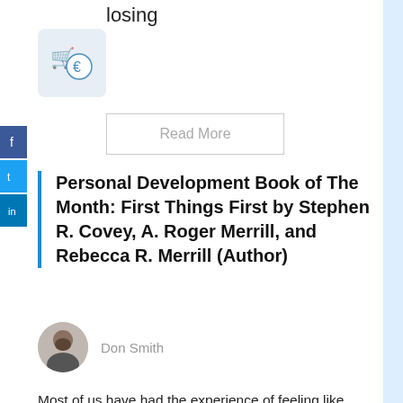losing
[Figure (screenshot): Shopping cart icon with euro symbol inside a rounded square box]
Read More
Personal Development Book of The Month: First Things First by Stephen R. Covey, A. Roger Merrill, and Rebecca R. Merrill (Author)
Don Smith
Most of us have had the experience of feeling like we're incredibly busy, yet not feeling like we're getting the important things done. Maybe your career is doing very well, but your personal